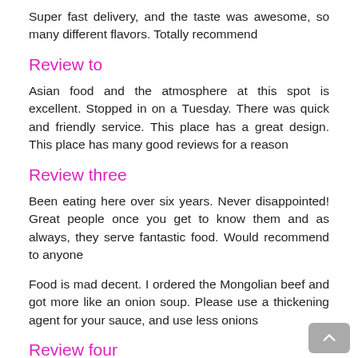Super fast delivery, and the taste was awesome, so many different flavors. Totally recommend
Review to
Asian food and the atmosphere at this spot is excellent. Stopped in on a Tuesday. There was quick and friendly service. This place has a great design. This place has many good reviews for a reason
Review three
Been eating here over six years. Never disappointed! Great people once you get to know them and as always, they serve fantastic food. Would recommend to anyone
Food is mad decent. I ordered the Mongolian beef and got more like an onion soup. Please use a thickening agent for your sauce, and use less onions
Review four